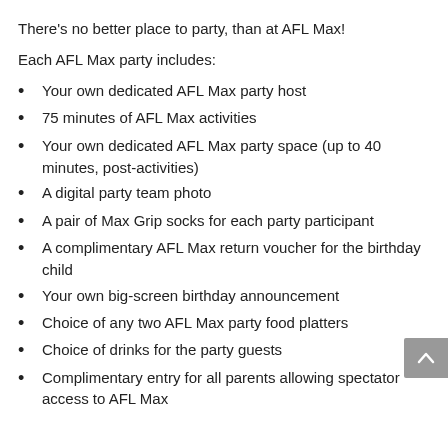There's no better place to party, than at AFL Max!
Each AFL Max party includes:
Your own dedicated AFL Max party host
75 minutes of AFL Max activities
Your own dedicated AFL Max party space (up to 40 minutes, post-activities)
A digital party team photo
A pair of Max Grip socks for each party participant
A complimentary AFL Max return voucher for the birthday child
Your own big-screen birthday announcement
Choice of any two AFL Max party food platters
Choice of drinks for the party guests
Complimentary entry for all parents allowing spectator access to AFL Max